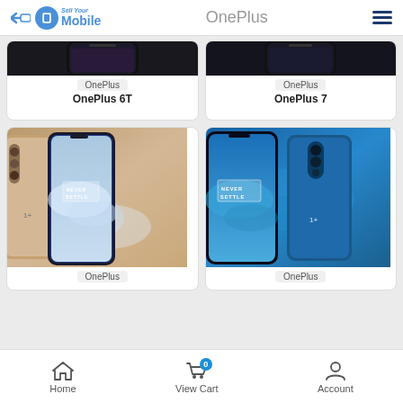OnePlus
[Figure (screenshot): Product card top-cropped: OnePlus 6T phone image with brand badge 'OnePlus' and bold title 'OnePlus 6T']
[Figure (screenshot): Product card top-cropped: OnePlus 7 phone image with brand badge 'OnePlus' and bold title 'OnePlus 7']
[Figure (screenshot): Product card: OnePlus 7 Pro gold color phone showing NEVER SETTLE text, brand badge 'OnePlus']
[Figure (screenshot): Product card: OnePlus 7T Pro blue color dual phone showing NEVER SETTLE text, brand badge 'OnePlus']
Home  View Cart  Account